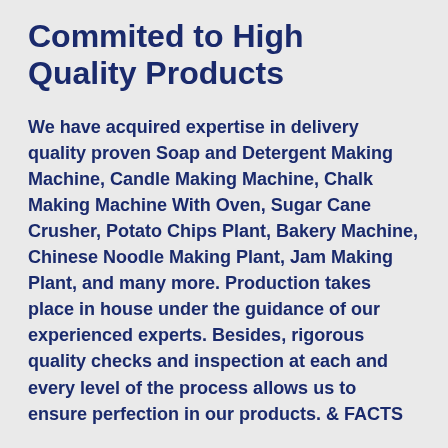Commited to High Quality Products
We have acquired expertise in delivery quality proven Soap and Detergent Making Machine, Candle Making Machine, Chalk Making Machine With Oven, Sugar Cane Crusher, Potato Chips Plant, Bakery Machine, Chinese Noodle Making Plant, Jam Making Plant, and many more. Production takes place in house under the guidance of our experienced experts. Besides, rigorous quality checks and inspection at each and every level of the process allows us to ensure perfection in our products. & FACTS